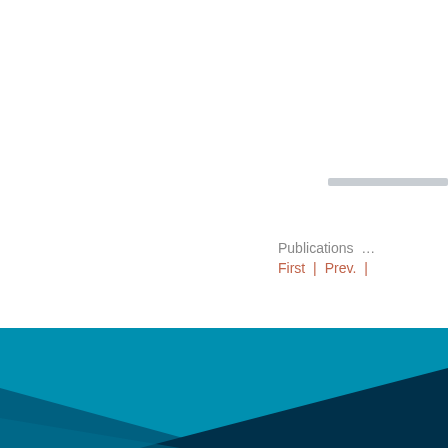Publications …
First | Prev. |
[Figure (illustration): Decorative bottom banner with teal and dark blue geometric diagonal shapes forming a footer graphic.]